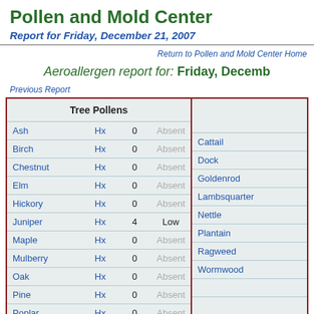Pollen and Mold Center
Report for Friday, December 21, 2007
Return to Pollen and Mold Center Home
Aeroallergen report for:  Friday, Decemb
Previous Report
|  | Tree Pollens |  |  |
| --- | --- | --- | --- |
| Ash | Hx | 0 | Absent |
| Birch | Hx | 0 | Absent |
| Chestnut | Hx | 0 | Absent |
| Elm | Hx | 0 | Absent |
| Hickory | Hx | 0 | Absent |
| Juniper | Hx | 4 | Low |
| Maple | Hx | 0 | Absent |
| Mulberry | Hx | 0 | Absent |
| Oak | Hx | 0 | Absent |
| Pine | Hx | 0 | Absent |
| Poplar | Hx | 0 | Absent |
|  |
| --- |
| Cattail |
| Dock |
| Goldenrod |
| Lambsquarter |
| Nettle |
| Plantain |
| Ragweed |
| Wormwood |
|  |
|  |
| Grass |